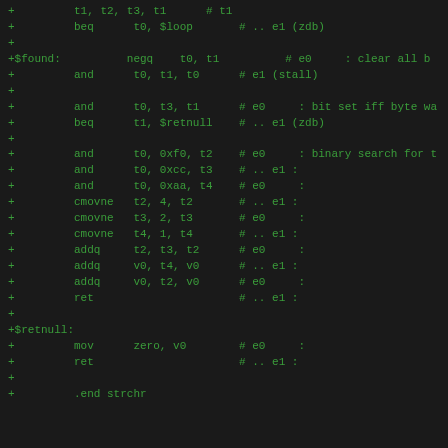Assembly code listing showing strchr implementation with labels $found and $retnull, including beq, negq, and, cmovne, addq, mov, ret instructions and .end strchr directive